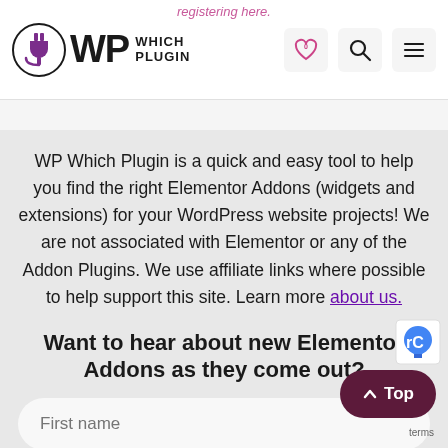registering here.
WP WHICH PLUGIN — navigation header with heart/search/menu icons
WP Which Plugin is a quick and easy tool to help you find the right Elementor Addons (widgets and extensions) for your WordPress website projects! We are not associated with Elementor or any of the Addon Plugins. We use affiliate links where possible to help support this site. Learn more about us.
Want to hear about new Elementor Addons as they come out?
First name
Email address